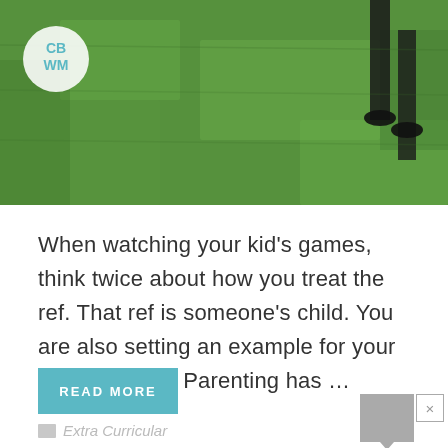[Figure (photo): Green grass soccer field with a referee's legs visible in the upper right corner, with a circular logo overlay showing 'CB WM' in teal text on white background]
When watching your kid’s games, think twice about how you treat the ref. That ref is someone’s child. You are also setting an example for your own children.  Parenting has …
READ MORE
Extra Curricular